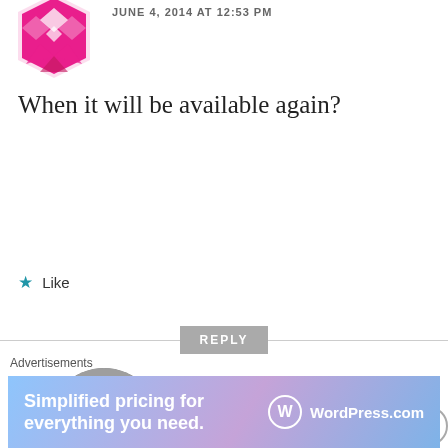[Figure (illustration): Pink geometric/abstract avatar icon at top left]
JUNE 4, 2014 AT 12:53 PM
When it will be available again?
★ Like
REPLY
[Figure (photo): Circular profile photo of Gaurav Shukla, a man in dark clothing]
Gaurav Shukla
JUNE 5, 2014 AT 8:46 AM
It will be back in stock today i.e. June 5, check update on th
Advertisements
[Figure (screenshot): WordPress.com advertisement banner: Simplified pricing for everything you need.]